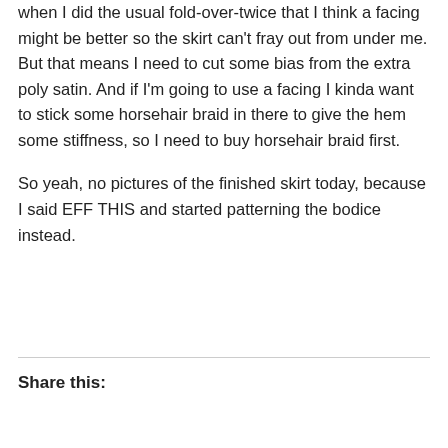when I did the usual fold-over-twice that I think a facing might be better so the skirt can't fray out from under me. But that means I need to cut some bias from the extra poly satin. And if I'm going to use a facing I kinda want to stick some horsehair braid in there to give the hem some stiffness, so I need to buy horsehair braid first.
So yeah, no pictures of the finished skirt today, because I said EFF THIS and started patterning the bodice instead.
Share this: